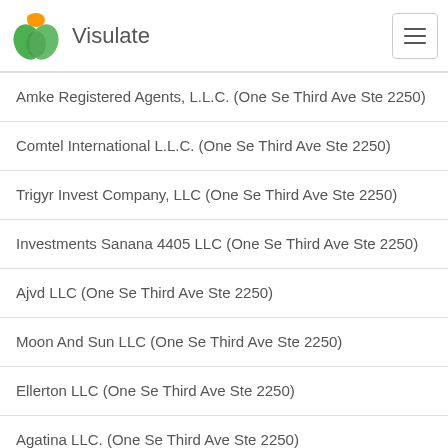Visulate
Amke Registered Agents, L.L.C. (One Se Third Ave Ste 2250)
Comtel International L.L.C. (One Se Third Ave Ste 2250)
Trigyr Invest Company, LLC (One Se Third Ave Ste 2250)
Investments Sanana 4405 LLC (One Se Third Ave Ste 2250)
Ajvd LLC (One Se Third Ave Ste 2250)
Moon And Sun LLC (One Se Third Ave Ste 2250)
Ellerton LLC (One Se Third Ave Ste 2250)
Agatina LLC. (One Se Third Ave Ste 2250)
Balfour Point LLC (One Se Third Ave Ste 2250)
Movytech LLC (One Se Third Ave Ste 2250)